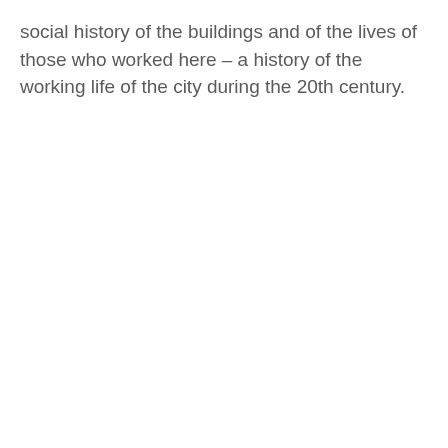social history of the buildings and of the lives of those who worked here – a history of the working life of the city during the 20th century.